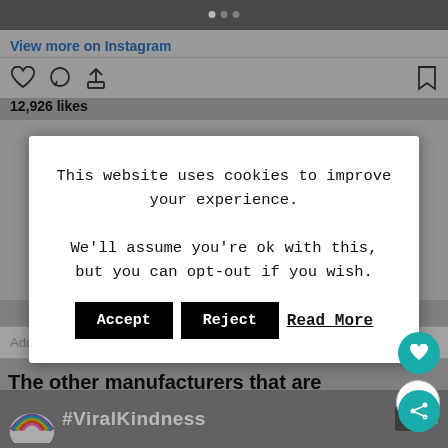[Figure (screenshot): Instagram post UI background showing top image strip with carousel dots, 'View more on Instagram' link, interaction icons (heart, comment, share, bookmark), and like count '12,926 likes']
This website uses cookies to improve your experience.

We'll assume you're ok with this, but you can opt-out if you wish.
Accept    Reject    Read More
Add a comment...
The other manufacturers that are taking part
[Figure (screenshot): Advertisement banner with rainbow image and '#ViralKindness' text, with close X buttons]